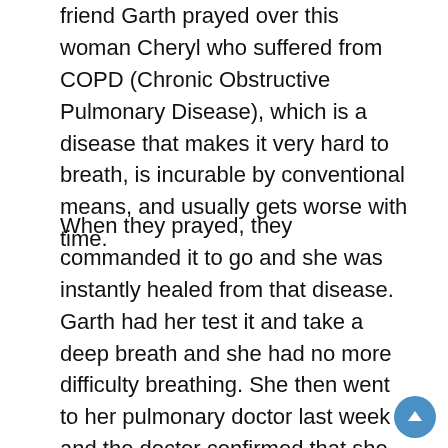friend Garth prayed over this woman Cheryl who suffered from COPD (Chronic Obstructive Pulmonary Disease), which is a disease that makes it very hard to breath, is incurable by conventional means, and usually gets worse with time.
When they prayed, they commanded it to go and she was instantly healed from that disease. Garth had her test it and take a deep breath and she had no more difficulty breathing. She then went to her pulmonary doctor last week and the doctor confirmed that she no longer had any COPD and he said was completely healed and that he was making a permanent note/record of such in her files.